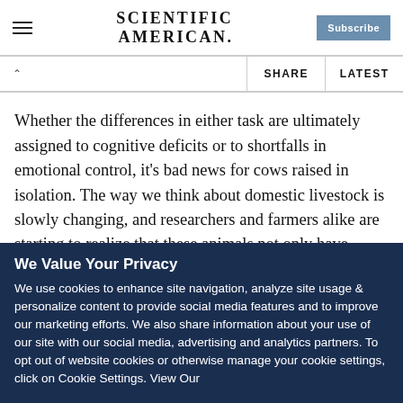Scientific American
Whether the differences in either task are ultimately assigned to cognitive deficits or to shortfalls in emotional control, it's bad news for cows raised in isolation. The way we think about domestic livestock is slowly changing, and researchers and farmers alike are starting to realize that these animals not only have complex social lives and personalities, but that more enriched housing can also lead to improved quality of life not
We Value Your Privacy
We use cookies to enhance site navigation, analyze site usage & personalize content to provide social media features and to improve our marketing efforts. We also share information about your use of our site with our social media, advertising and analytics partners. To opt out of website cookies or otherwise manage your cookie settings, click on Cookie Settings. View Our